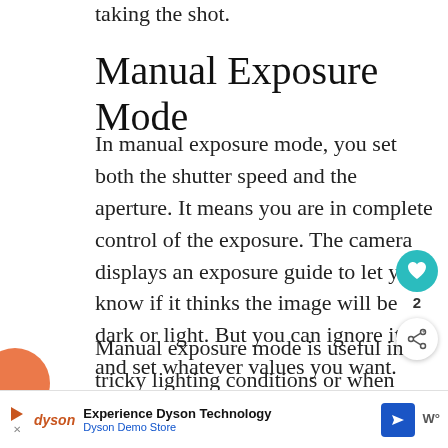taking the shot.
Manual Exposure Mode
In manual exposure mode, you set both the shutter speed and the aperture. It means you are in complete control of the exposure. The camera displays an exposure guide to let you know if it thinks the image will be dark or light. But you can ignore it and set whatever values you want.
Manual exposure mode is useful in tricky lighting conditions or when your subject is exceptionally light or dark. If you let the camera take control of exposure when you're photographing a black cat, for example, the
[Figure (other): Circular teal heart/like button showing count of 2, and a share button below it]
[Figure (other): What's Next overlay showing Canon EOS R review with camera thumbnail image]
[Figure (other): Dyson advertisement banner: Experience Dyson Technology, Dyson Demo Store]